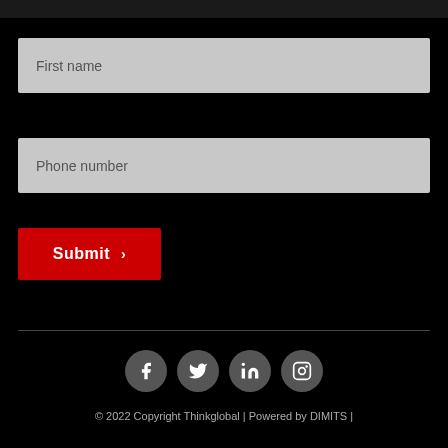First name
Phone number
Submit ›
[Figure (infographic): Social media icons: Facebook, Twitter, LinkedIn, Instagram — circular dark grey buttons with white icons]
© 2022 Copyright Thinkglobal | Powered by DIMITS |